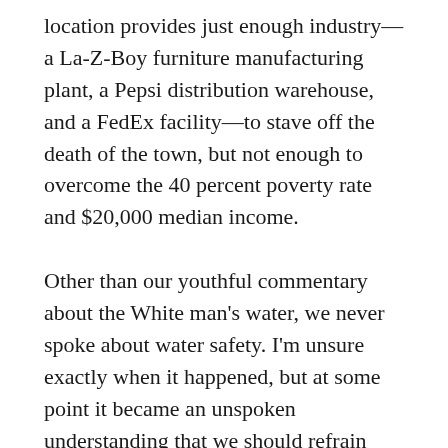location provides just enough industry—a La-Z-Boy furniture manufacturing plant, a Pepsi distribution warehouse, and a FedEx facility—to stave off the death of the town, but not enough to overcome the 40 percent poverty rate and $20,000 median income.
Other than our youthful commentary about the White man's water, we never spoke about water safety. I'm unsure exactly when it happened, but at some point it became an unspoken understanding that we should refrain from drinking the water in our homes whenever possible. I have memories of refilling a large plastic water pitcher from the kitchen sink as a young child and taking long baths in presumably safe water, but the details of the